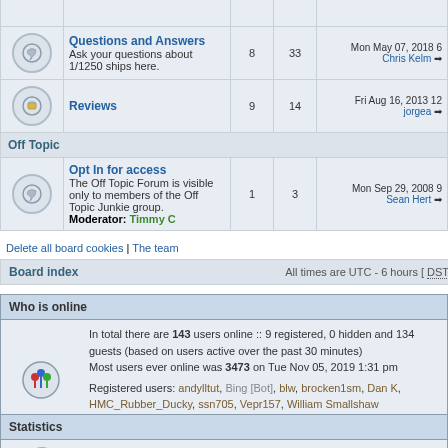|  | Forum | Topics | Posts | Last post |
| --- | --- | --- | --- | --- |
| [icon] | Questions and Answers
Ask your questions about 1/1250 ships here. | 8 | 33 | Mon May 07, 2018 6
Chris Kelm → |
| [icon] | Reviews | 9 | 14 | Fri Aug 16, 2013 12
jorgea → |
| Off Topic |  |  |  |  |
| [icon] | Opt In for access
The Off Topic Forum is visible only to members of the Off Topic Junkie group.
Moderator: Timmy C | 1 | 3 | Mon Sep 29, 2008 9
Sean Hert → |
Delete all board cookies | The team
Board index    All times are UTC - 6 hours [ DST ]
Who is online
In total there are 143 users online :: 9 registered, 0 hidden and 134 guests (based on users active over the past 30 minutes)
Most users ever online was 3473 on Tue Nov 05, 2019 1:31 pm
Registered users: andylltut, Bing [Bot], blw, brocken1sm, Dan K, HMC_Rubber_Ducky, ssn705, Vepr157, William Smallshaw
Legend :: Administrators, Global moderators, moderators
Statistics
Total posts 321339 | Total topics 15618 | Total members 27155 |